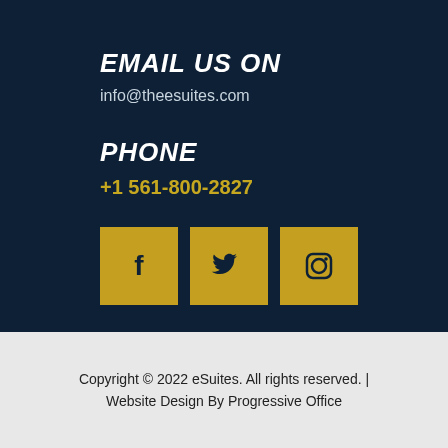EMAIL US ON
info@theesuites.com
PHONE
+1 561-800-2827
[Figure (infographic): Three yellow square social media icons: Facebook (f), Twitter (bird), Instagram (camera)]
Copyright © 2022 eSuites. All rights reserved. | Website Design By Progressive Office